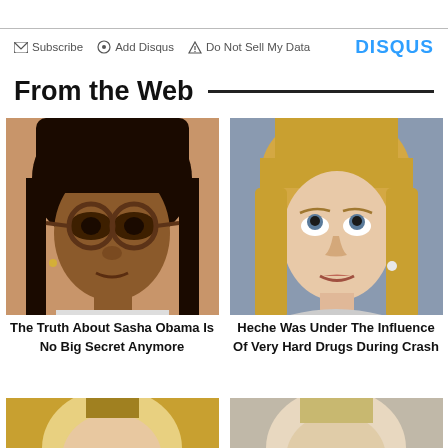Subscribe  Add Disqus  Do Not Sell My Data  DISQUS
From the Web
[Figure (photo): Close-up portrait of a young Black girl wearing round tortoiseshell glasses]
The Truth About Sasha Obama Is No Big Secret Anymore
[Figure (photo): Close-up portrait of a blonde white woman looking upward]
Heche Was Under The Influence Of Very Hard Drugs During Crash
[Figure (photo): Partial portrait of a blonde woman, bottom of page left]
[Figure (photo): Partial portrait of a blonde woman, bottom of page right]